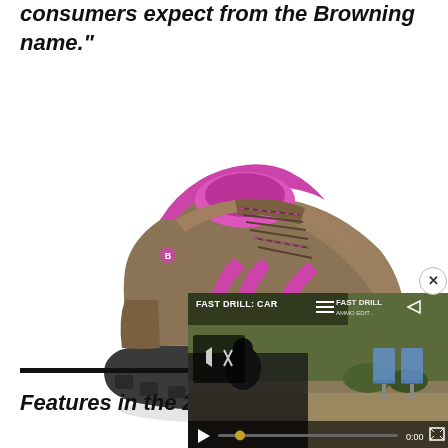consumers expect from the Browning name."
[Figure (photo): A brown and pink/magenta women's hiking trail shoe by Browning, shown at an angle on a white background.]
Features in the 2017 B
[Figure (screenshot): A video overlay showing 'FAST DRILL: CAR...' with video controls including mute, play, progress bar at 0:00, and fullscreen button. Two blue target icons visible on the right. A close (X) button at top right.]